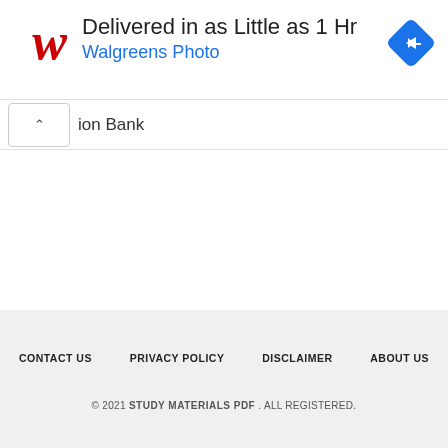[Figure (screenshot): Walgreens Photo advertisement banner. Red italic W logo on left, headline 'Delivered in as Little as 1 Hr', subline 'Walgreens Photo' in blue, blue diamond navigation icon on right.]
ion Bank
CONTACT US   PRIVACY POLICY   DISCLAIMER   ABOUT US
© 2021 STUDY MATERIALS PDF . ALL REGISTERED.